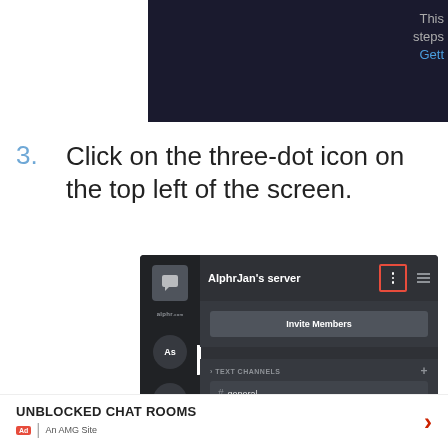[Figure (screenshot): Top portion of a dark Discord screenshot showing partial text: 'This', 'steps', 'Gett' in blue link color on right side]
3. Click on the three-dot icon on the top left of the screen.
[Figure (screenshot): Discord mobile app screenshot showing AlphrJan's server with three-dot icon highlighted in red box, Invite Members button, TEXT CHANNELS section with #general channel]
UNBLOCKED CHAT ROOMS | Ad | An AMG Site